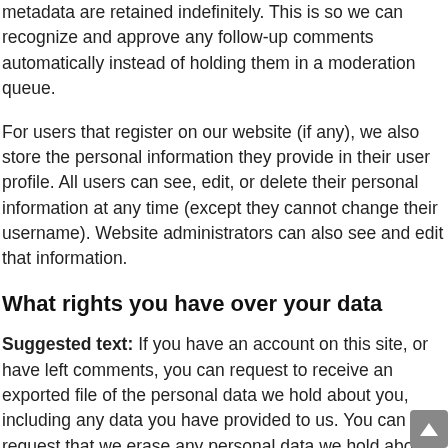metadata are retained indefinitely. This is so we can recognize and approve any follow-up comments automatically instead of holding them in a moderation queue.
For users that register on our website (if any), we also store the personal information they provide in their user profile. All users can see, edit, or delete their personal information at any time (except they cannot change their username). Website administrators can also see and edit that information.
What rights you have over your data
Suggested text: If you have an account on this site, or have left comments, you can request to receive an exported file of the personal data we hold about you, including any data you have provided to us. You can also request that we erase any personal data we hold about you. This does not include any data we are